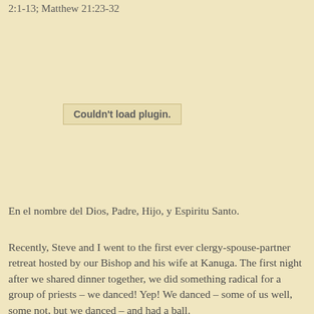2:1-13; Matthew 21:23-32
[Figure (other): Plugin placeholder box with text 'Couldn't load plugin.']
En el nombre del Dios, Padre, Hijo, y Espiritu Santo.
Recently, Steve and I went to the first ever clergy-spouse-partner retreat hosted by our Bishop and his wife at Kanuga. The first night after we shared dinner together, we did something radical for a group of priests – we danced! Yep! We danced – some of us well, some not, but we danced – and had a ball.